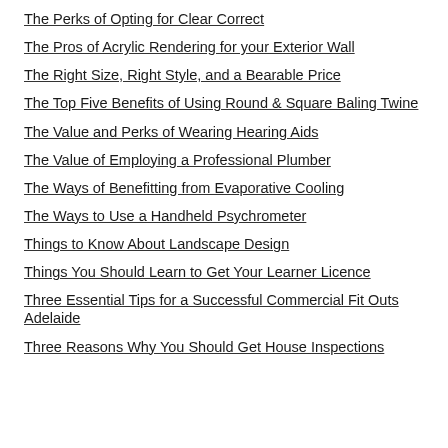The Perks of Opting for Clear Correct
The Pros of Acrylic Rendering for your Exterior Wall
The Right Size, Right Style, and a Bearable Price
The Top Five Benefits of Using Round & Square Baling Twine
The Value and Perks of Wearing Hearing Aids
The Value of Employing a Professional Plumber
The Ways of Benefitting from Evaporative Cooling
The Ways to Use a Handheld Psychrometer
Things to Know About Landscape Design
Things You Should Learn to Get Your Learner Licence
Three Essential Tips for a Successful Commercial Fit Outs Adelaide
Three Reasons Why You Should Get House Inspections